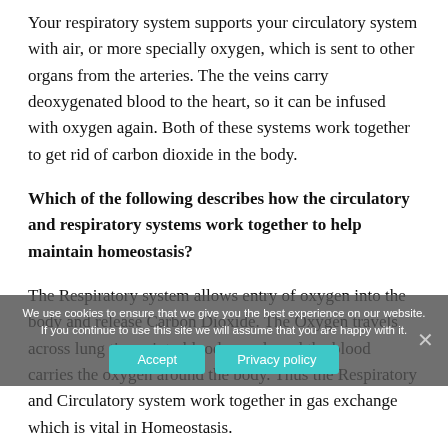Your respiratory system supports your circulatory system with air, or more specially oxygen, which is sent to other organs from the arteries. The the veins carry deoxygenated blood to the heart, so it can be infused with oxygen again. Both of these systems work together to get rid of carbon dioxide in the body.
Which of the following describes how the circulatory and respiratory systems work together to help maintain homeostasis?
The Respiratory system allows entry of oxygen into the body and release Carbon Dioxide. The Oxygen travels across lung tissue into blood vessels and the blood carries the oxygen around the body. Thus the Respiratory and Circulatory system work together in gas exchange which is vital in Homeostasis.
We use cookies to ensure that we give you the best experience on our website. If you continue to use this site we will assume that you are happy with it.